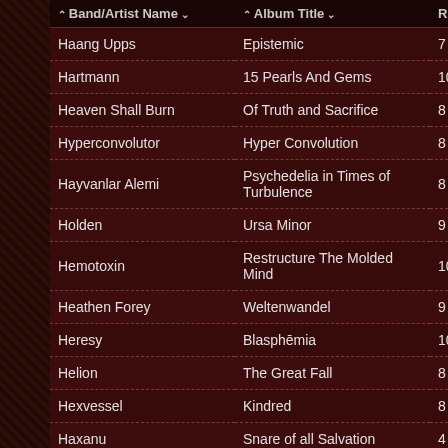| Band/Artist Name | Album Title | Rating |
| --- | --- | --- |
| Haang Upps | Epistemic | 7 |
| Hartmann | 15 Pearls And Gems | 10 |
| Heaven Shall Burn | Of Truth and Sacrifice | 8 |
| Hyperconvolutor | Hyper Convolution | 8 |
| Hayvanlar Alemi | Psychedelia in Times of Turbulence | 8 |
| Holden | Ursa Minor | 9 |
| Hemotoxin | Restructure The Molded Mind | 10 |
| Heathen Forey | Weltenwandel | 9 |
| Heresy | Blasphēmia | 10 |
| Helion | The Great Fall | 8 |
| Hexvessel | Kindred | 8 |
| Haxanu | Snare of all Salvation | 4 |